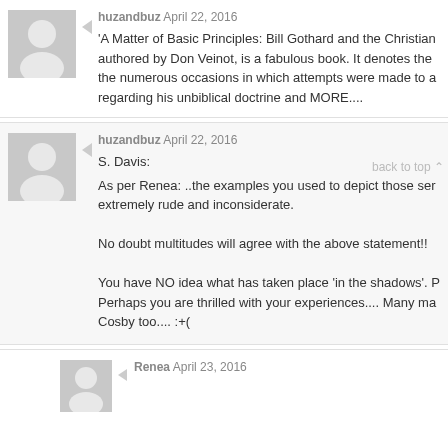huzandbuz April 22, 2016
'A Matter of Basic Principles: Bill Gothard and the Christian authored by Don Veinot, is a fabulous book. It denotes the the numerous occasions in which attempts were made to a regarding his unbiblical doctrine and MORE....
huzandbuz April 22, 2016
S. Davis:
As per Renea: ..the examples you used to depict those ser extremely rude and inconsiderate.

No doubt multitudes will agree with the above statement!!

You have NO idea what has taken place 'in the shadows'. Perhaps you are thrilled with your experiences.... Many ma Cosby too.... :+(
Renea April 23, 2016